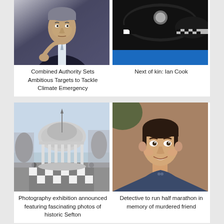[Figure (photo): Man in dark suit, grey hair, seated, looking serious]
Combined Authority Sets Ambitious Targets to Tackle Climate Emergency
[Figure (photo): Police hats/caps with checkered band and badge, blue banner below]
Next of kin: Ian Cook
[Figure (photo): Black and white photo of historic bandstand/rotunda in Sefton park]
Photography exhibition announced featuring fascinating photos of historic Sefton
[Figure (photo): Young smiling man with dark hair, portrait photo with brown background]
Detective to run half marathon in memory of murdered friend